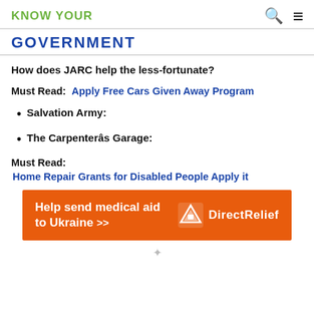KNOW YOUR  🔍  ≡
GOVERNMENT
How does JARC help the less-fortunate?
Must Read:  Apply Free Cars Given Away Program
Salvation Army:
The Carpenterâs Garage:
Must Read:
Home Repair Grants for Disabled People Apply it
[Figure (other): Orange banner advertisement for Direct Relief: 'Help send medical aid to Ukraine >>' with Direct Relief logo on right.]